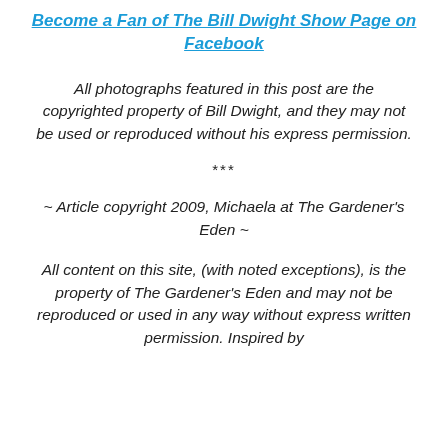Become a Fan of The Bill Dwight Show Page on Facebook
All photographs featured in this post are the copyrighted property of Bill Dwight, and they may not be used or reproduced without his express permission.
***
~ Article copyright 2009, Michaela at The Gardener's Eden ~
All content on this site, (with noted exceptions), is the property of The Gardener's Eden and may not be reproduced or used in any way without express written permission. Inspired by